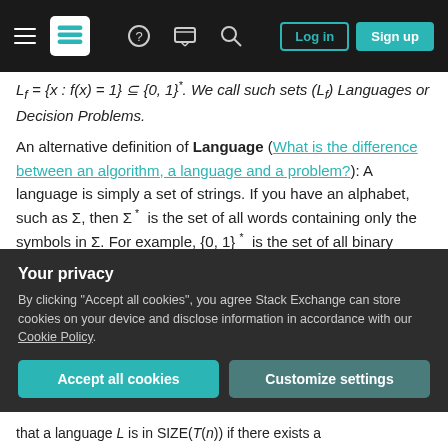Stack Exchange navigation bar with hamburger menu, logo, help, chat, search icons, Log in and Sign up buttons
Lf = {x : f(x) = 1} ⊆ {0, 1}*. We call such sets (Lf) Languages or Decision Problems.
An alternative definition of Language (What is the difference between an algorithm, a language and a problem?): A language is simply a set of strings. If you have an alphabet, such as Σ, then Σ* is the set of all words containing only the symbols in Σ. For example, {0, 1}* is the set of all binary sequences of any length. An alphabet doesn't need to be binary, though. It can be unary, ternary, etc. A language over an alphabet Σ is any subset of Σ*
Your privacy
By clicking "Accept all cookies", you agree Stack Exchange can store cookies on your device and disclose information in accordance with our Cookie Policy.
Accept all cookies
Customize settings
that a language L is in SIZE(T(n)) if there exists a